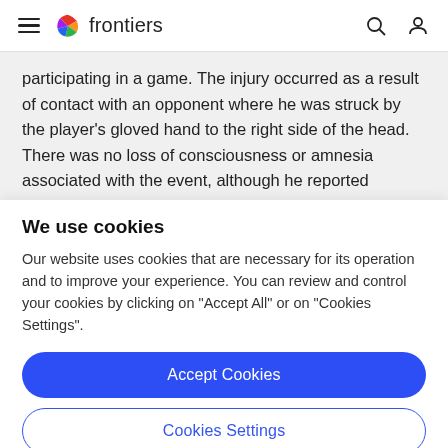frontiers
participating in a game. The injury occurred as a result of contact with an opponent where he was struck by the player's gloved hand to the right side of the head. There was no loss of consciousness or amnesia associated with the event, although he reported increased pressure to the
We use cookies
Our website uses cookies that are necessary for its operation and to improve your experience. You can review and control your cookies by clicking on "Accept All" or on "Cookies Settings".
Accept Cookies
Cookies Settings